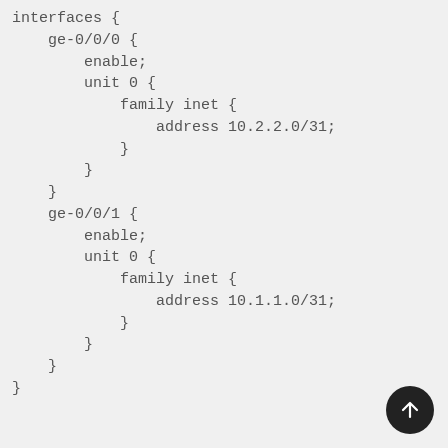[Figure (other): Code block showing network interface configuration in JunOS/similar syntax with interfaces ge-0/0/0 and ge-0/0/1, each with enable and unit 0 containing family inet with IP addresses 10.2.2.0/31 and 10.1.1.0/31 respectively.]